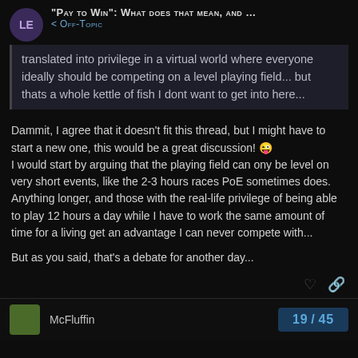"Pay to Win": What does that mean, and ... < Off-Topic
translated into privilege in a virtual world where everyone ideally should be competing on a level playing field... but thats a whole kettle of fish I dont want to get into here...
Dammit, I agree that it doesn't fit this thread, but I might have to start a new one, this would be a great discussion! 😜
I would start by arguing that the playing field can ony be level on very short events, like the 2-3 hours races PoE sometimes does. Anything longer, and those with the real-life privilege of being able to play 12 hours a day while I have to work the same amount of time for a living get an advantage I can never compete with...
But as you said, that's a debate for another day...
McFluffin  19/45